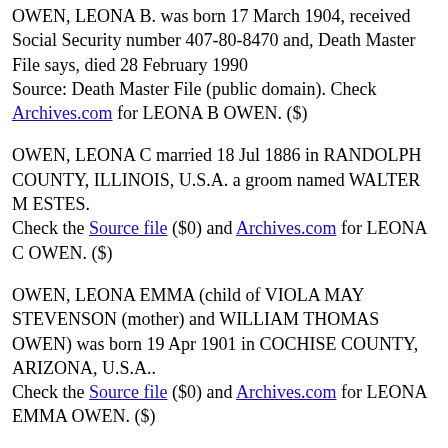OWEN, LEONA B. was born 17 March 1904, received Social Security number 407-80-8470 and, Death Master File says, died 28 February 1990
Source: Death Master File (public domain). Check Archives.com for LEONA B OWEN. ($)
OWEN, LEONA C married 18 Jul 1886 in RANDOLPH COUNTY, ILLINOIS, U.S.A. a groom named WALTER M ESTES.
Check the Source file ($0) and Archives.com for LEONA C OWEN. ($)
OWEN, LEONA EMMA (child of VIOLA MAY STEVENSON (mother) and WILLIAM THOMAS OWEN) was born 19 Apr 1901 in COCHISE COUNTY, ARIZONA, U.S.A..
Check the Source file ($0) and Archives.com for LEONA EMMA OWEN. ($)
OWEN, Leona G (wife of Byron B Owen) was born ABT 1920 in Owen and was in the 1920 census in Park County, Wyoming, U.S.A.